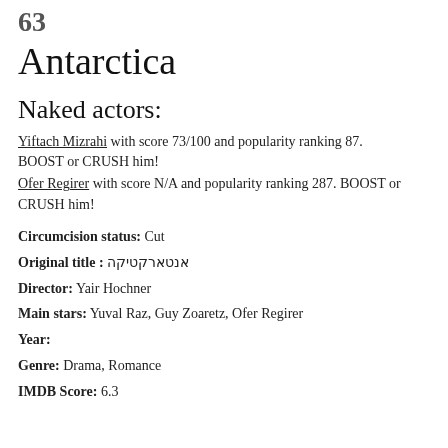63
Antarctica
Naked actors:
Yiftach Mizrahi with score 73/100 and popularity ranking 87. BOOST or CRUSH him!
Ofer Regirer with score N/A and popularity ranking 287. BOOST or CRUSH him!
Circumcision status: Cut
Original title : אנטארקטיקה
Director: Yair Hochner
Main stars: Yuval Raz, Guy Zoaretz, Ofer Regirer
Year:
Genre: Drama, Romance
IMDB Score: 6.3